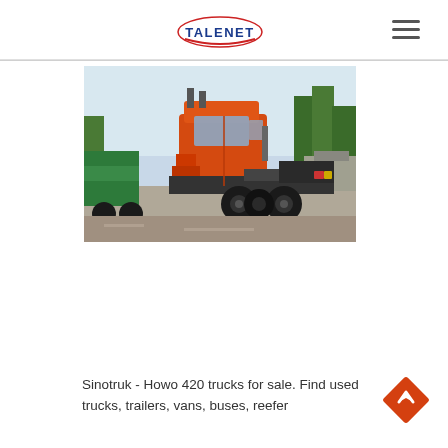TALENET
[Figure (photo): Orange Sinotruk Howo 420 tractor truck photographed from the rear-side angle in a parking area with trees in the background. Another green truck is partially visible on the left.]
Sinotruk - Howo 420 trucks for sale. Find used trucks, trailers, vans, buses, reefer